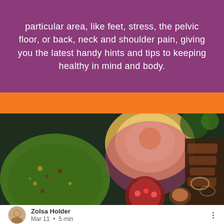particular area, like feet, stress, the pelvic floor, or back, neck and shoulder pain, giving you the latest handy hints and tips to keeping healthy in mind and body.
[Figure (photo): Orange banner bar followed by a food photograph showing various dishes including salads, hummus, grilled meat, and pomegranate, overlaid with text 'PILATES EXERCISE and food' and '4U Pilates & Wellbeing' logo]
Zolsa Holder
Mar 11  •  5 min